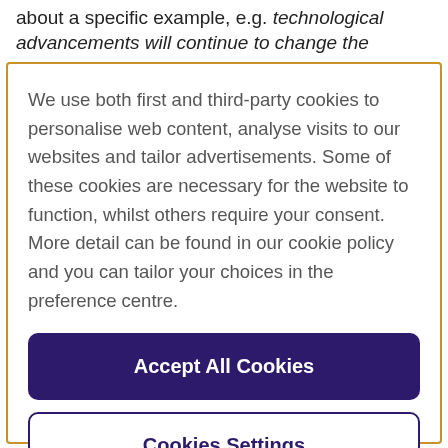about a specific example, e.g. technological advancements will continue to change the
We use both first and third-party cookies to personalise web content, analyse visits to our websites and tailor advertisements. Some of these cookies are necessary for the website to function, whilst others require your consent. More detail can be found in our cookie policy and you can tailor your choices in the preference centre.
Accept All Cookies
Cookies Settings